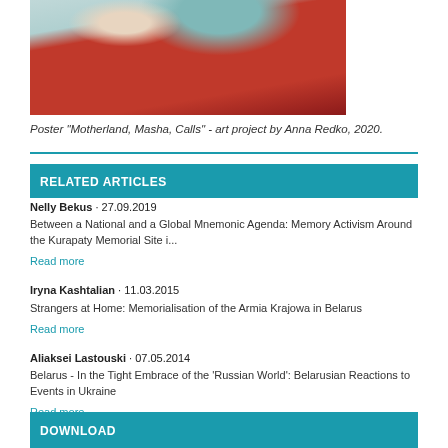[Figure (illustration): Partial view of a poster showing a figure in red with teal floral background elements and a small book, titled 'Motherland, Masha, Calls' art project by Anna Redko]
Poster "Motherland, Masha, Calls" - art project by Anna Redko, 2020.
RELATED ARTICLES
Nelly Bekus · 27.09.2019
Between a National and a Global Mnemonic Agenda: Memory Activism Around the Kurapaty Memorial Site i...
Read more
Iryna Kashtalian · 11.03.2015
Strangers at Home: Memorialisation of the Armia Krajowa in Belarus
Read more
Aliaksei Lastouski · 07.05.2014
Belarus - In the Tight Embrace of the 'Russian World': Belarusian Reactions to Events in Ukraine
Read more
DOWNLOAD